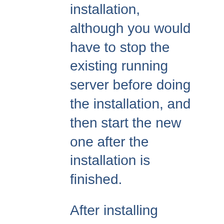installation, although you would have to stop the existing running server before doing the installation, and then start the new one after the installation is finished.
After installing Apache, you must edit the configuration files in the conf subdirectory as required. These files will be configured during the installation so that Apache is ready to be run from the directory it was installed into, with the documents server from the subdirectory htdocs. There are lots of other options which you should set before you really start using Apache. However, to get started quickly, the